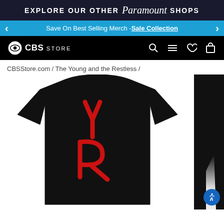EXPLORE OUR OTHER Paramount SHOPS
Save On Best Selling Merch - Sale Collection
[Figure (logo): CBS Store navigation bar with CBS eye logo and icons for search, menu, wishlist, and cart]
CBSStore.com / The Young and the Restless /
[Figure (photo): Black t-shirt with red YR (Young and the Restless) script logo printed vertically on front, shown with partial second image on right edge]